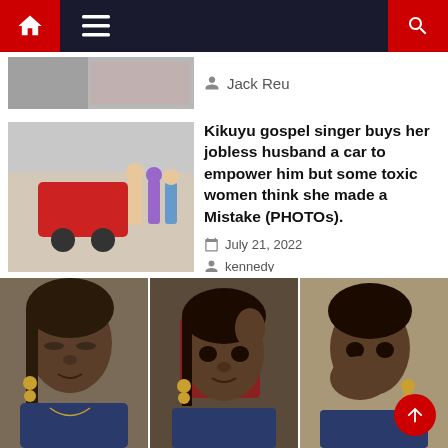Navigation bar with home icon, hamburger menu, and search icon
Jack Reu
Kikuyu gospel singer buys her jobless husband a car to empower him but some toxic women think she made a Mistake (PHOTOs).
July 21, 2022
kennedy
[Figure (photo): Three photos of a young African woman with braided hair and gold earrings, shown wiping tears]
[Figure (photo): Thumbnail of people standing next to a red car]